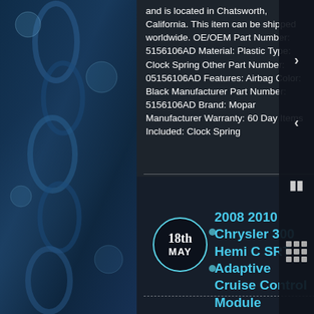[Figure (photo): Blue water splash/droplets background image on the left side panel and decorative background for the whole page]
and is located in Chatsworth, California. This item can be shipped worldwide. OE/OEM Part Number: 5156106AD Material: Plastic Type: Clock Spring Other Part Number: 05156106AD Features: Airbag Color: Black Manufacturer Part Number: 5156106AD Brand: Mopar Manufacturer Warranty: 60 Day Items Included: Clock Spring
2008 2010 Chrysler 300 Hemi C SRT Adaptive Cruise Control Module 56038888AE OEM